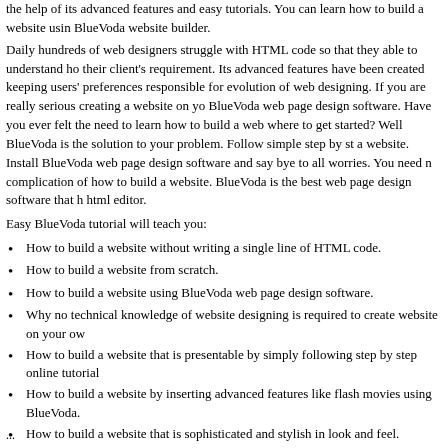the help of its advanced features and easy tutorials. You can learn how to build a website using BlueVoda website builder.
Daily hundreds of web designers struggle with HTML code so that they able to understand how to meet their client’s requirement. Its advanced features have been created keeping users’ preferences and are responsible for evolution of web designing. If you are really serious creating a website on your own, try BlueVoda web page design software. Have you ever felt the need to learn how to build a website but don’t know where to get started? Well BlueVoda is the solution to your problem. Follow simple step by step tutorial to build a website. Install BlueVoda web page design software and say bye to all worries. You need not worry about complication of how to build a website. BlueVoda is the best web page design software that has an excellent html editor.
Easy BlueVoda tutorial will teach you:
How to build a website without writing a single line of HTML code.
How to build a website from scratch.
How to build a website using BlueVoda web page design software.
Why no technical knowledge of website designing is required to create website on your own.
How to build a website that is presentable by simply following step by step online tutorials.
How to build a website by inserting advanced features like flash movies using BlueVoda.
How to build a website that is sophisticated and stylish in look and feel.
How to build a website with effective cost reduction in web designing.
How to give a professional look to your website.
How to build a website without any external help.
How to build a website using image library and design templates of BlueVoda.
How to build a website of several pages
...